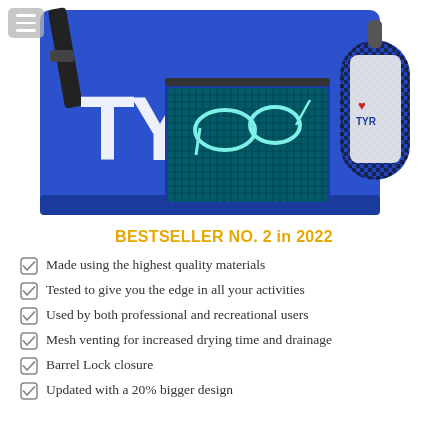[Figure (photo): Blue TYR sports bag with mesh front pocket containing swim goggles, mesh water bottle holder on the side with a TYR branded bottle, black shoulder strap. White TYR logo on the bag. Hamburger menu icon overlay in top-left corner.]
BESTSELLER NO. 2 in 2022
Made using the highest quality materials
Tested to give you the edge in all your activities
Used by both professional and recreational users
Mesh venting for increased drying time and drainage
Barrel Lock closure
Updated with a 20% bigger design